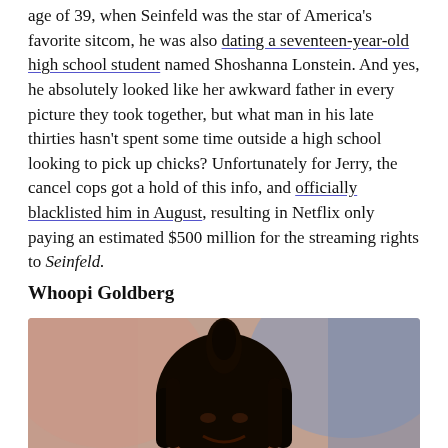age of 39, when Seinfeld was the star of America's favorite sitcom, he was also dating a seventeen-year-old high school student named Shoshanna Lonstein. And yes, he absolutely looked like her awkward father in every picture they took together, but what man in his late thirties hasn't spent some time outside a high school looking to pick up chicks? Unfortunately for Jerry, the cancel cops got a hold of this info, and officially blacklisted him in August, resulting in Netflix only paying an estimated $500 million for the streaming rights to Seinfeld.
Whoopi Goldberg
[Figure (photo): Photo of Whoopi Goldberg with dark dreadlocks, blurred colorful studio background]